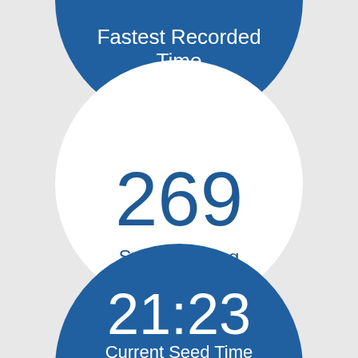[Figure (infographic): Three circular infographic elements on a light gray background. Top circle: dark blue, partially cropped at top, contains text 'Fastest Recorded Time'. Middle circle: white/light, contains large blue number '269' and label 'Seed Ranking'. Bottom circle: dark blue, partially cropped at bottom, contains large white number '21:23' and label 'Current Seed Time'.]